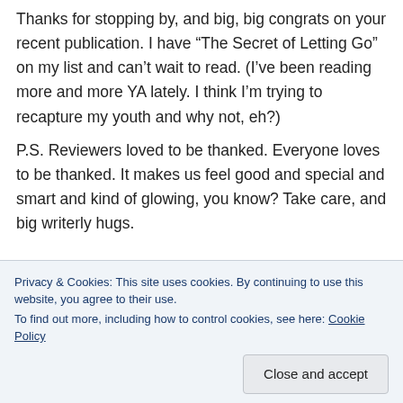Thanks for stopping by, and big, big congrats on your recent publication. I have “The Secret of Letting Go” on my list and can’t wait to read. (I’ve been reading more and more YA lately. I think I’m trying to recapture my youth and why not, eh?)
P.S. Reviewers loved to be thanked. Everyone loves to be thanked. It makes us feel good and special and smart and kind of glowing, you know? Take care, and big writerly hugs.
Privacy & Cookies: This site uses cookies. By continuing to use this website, you agree to their use.
To find out more, including how to control cookies, see here: Cookie Policy